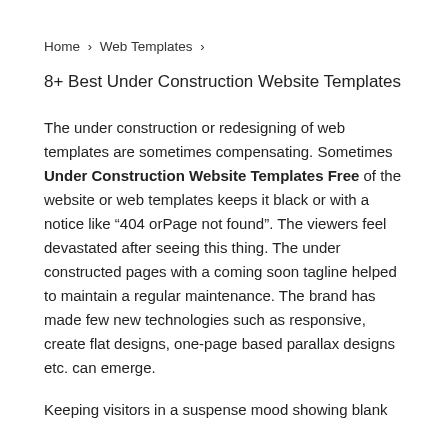Home > Web Templates >
8+ Best Under Construction Website Templates
The under construction or redesigning of web templates are sometimes compensating. Sometimes Under Construction Website Templates Free of the website or web templates keeps it black or with a notice like “404 orPage not found”. The viewers feel devastated after seeing this thing. The under constructed pages with a coming soon tagline helped to maintain a regular maintenance. The brand has made few new technologies such as responsive, create flat designs, one-page based parallax designs etc. can emerge.
Keeping visitors in a suspense mood showing blank